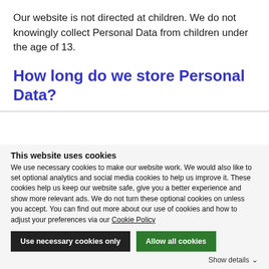Our website is not directed at children. We do not knowingly collect Personal Data from children under the age of 13.
How long do we store Personal Data?
This website uses cookies
We use necessary cookies to make our website work. We would also like to set optional analytics and social media cookies to help us improve it. These cookies help us keep our website safe, give you a better experience and show more relevant ads. We do not turn these optional cookies on unless you accept. You can find out more about our use of cookies and how to adjust your preferences via our Cookie Policy
Use necessary cookies only
Allow all cookies
Show details